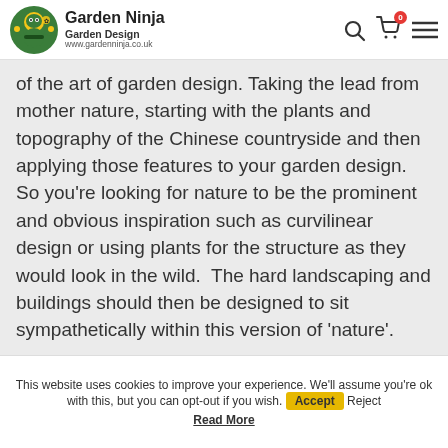Garden Ninja Garden Design www.gardenninja.co.uk
of the art of garden design. Taking the lead from mother nature, starting with the plants and topography of the Chinese countryside and then applying those features to your garden design. So you're looking for nature to be the prominent and obvious inspiration such as curvilinear design or using plants for the structure as they would look in the wild.  The hard landscaping and buildings should then be designed to sit sympathetically within this version of 'nature'.
This website uses cookies to improve your experience. We'll assume you're ok with this, but you can opt-out if you wish. Accept Reject Read More